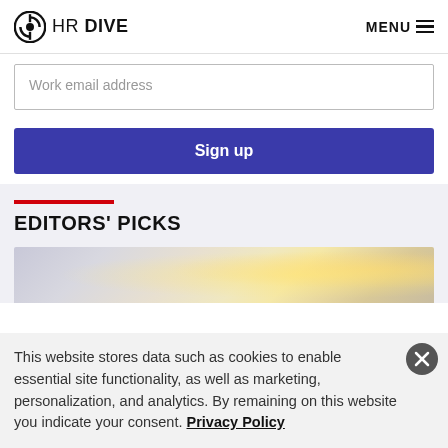HR DIVE  MENU
Work email address
Sign up
EDITORS' PICKS
[Figure (photo): Blurred bokeh background image, light colored with yellow/golden orbs]
This website stores data such as cookies to enable essential site functionality, as well as marketing, personalization, and analytics. By remaining on this website you indicate your consent. Privacy Policy